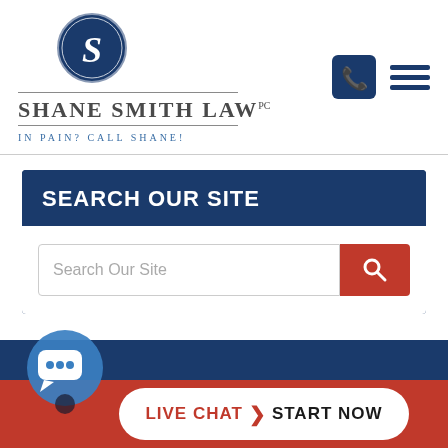[Figure (logo): Shane Smith Law PC logo with circular blue emblem containing stylized S, firm name in serif capitals, and tagline IN PAIN? CALL SHANE!]
SEARCH OUR SITE
Search Our Site
[Figure (infographic): Live Chat START NOW button with chat bubble icon at bottom of page]